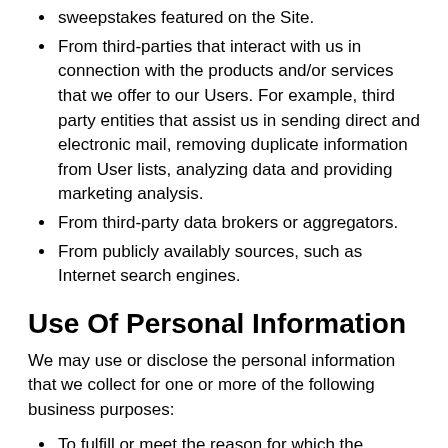sweepstakes featured on the Site.
From third-parties that interact with us in connection with the products and/or services that we offer to our Users. For example, third party entities that assist us in sending direct and electronic mail, removing duplicate information from User lists, analyzing data and providing marketing analysis.
From third-party data brokers or aggregators.
From publicly availably sources, such as Internet search engines.
Use Of Personal Information
We may use or disclose the personal information that we collect for one or more of the following business purposes:
To fulfill or meet the reason for which the information is provided. For example, if you provide us with personal information in connection with your request for a price